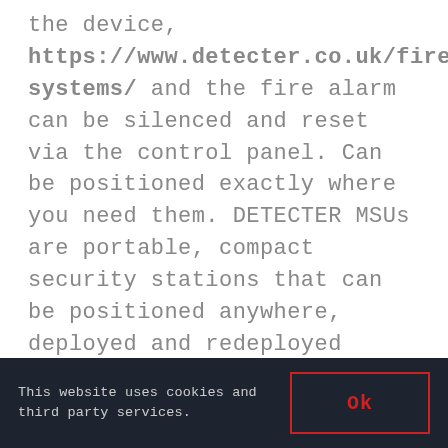the device, https://www.detecter.co.uk/fire-systems/ and the fire alarm can be silenced and reset via the control panel. Can be positioned exactly where you need them. DETECTER MSUs are portable, compact security stations that can be positioned anywhere, deployed and redeployed rapidly and create time-lapse videos. Our MSUs can be equipped with a wide variety.
This website uses cookies and third party services.
Ok